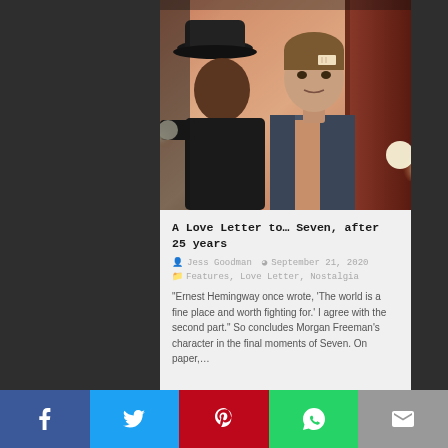[Figure (photo): Movie still from Seven (1995) showing two actors, one with a hat and one with a bandage on his forehead]
A Love Letter to… Seven, after 25 years
Jess Goodman   September 21, 2020
Features, Love Letter, Nostalgia
“Ernest Hemingway once wrote, ‘The world is a fine place and worth fighting for.’ I agree with the second part.” So concludes Morgan Freeman’s character in the final moments of Seven. On paper,…